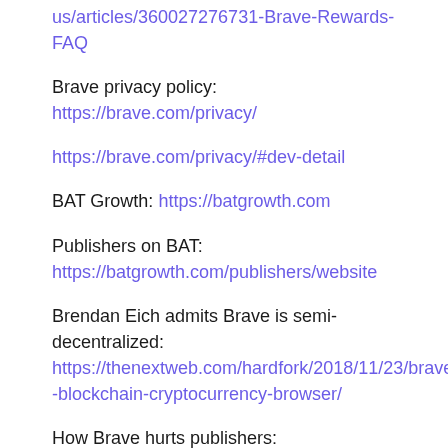us/articles/360027276731-Brave-Rewards-FAQ
Brave privacy policy: https://brave.com/privacy/
https://brave.com/privacy/#dev-detail
BAT Growth: https://batgrowth.com
Publishers on BAT: https://batgrowth.com/publishers/website
Brendan Eich admits Brave is semi-decentralized: https://thenextweb.com/hardfork/2018/11/23/brave-blockchain-cryptocurrency-browser/
How Brave hurts publishers: https://practicaltypography.com/the-cowardice-of-brave.html
Publishers send cease and desist to Brave: https://www.coindesk.com/bitcoin-browser-brave-responds-cease-desist